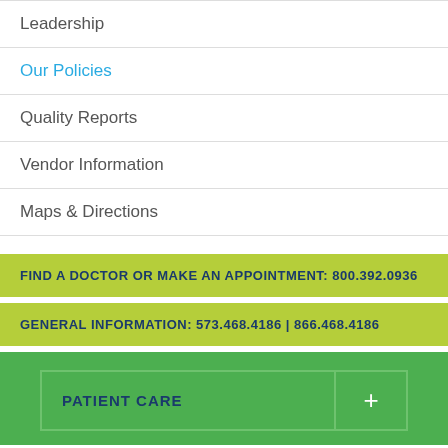Leadership
Our Policies
Quality Reports
Vendor Information
Maps & Directions
FIND A DOCTOR OR MAKE AN APPOINTMENT: 800.392.0936
GENERAL INFORMATION: 573.468.4186 | 866.468.4186
PATIENT CARE